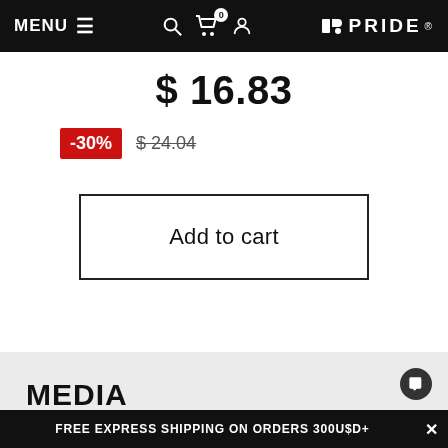MENU ≡  [search icon] [cart icon 0] [user icon]  EPRIDE®
$ 16.83
-30%  $ 24.04
Add to cart
MEDIA
FREE EXPRESS SHIPPING ON ORDERS 300U$D+  ×